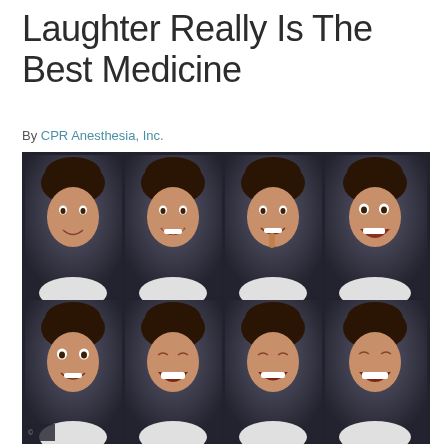Laughter Really Is The Best Medicine
By CPR Anesthesia, Inc.
[Figure (photo): A 4x2 grid of portrait photos showing the same young woman with short dark hair displaying eight different smiling and laughing expressions, wearing a white top against a dark background.]